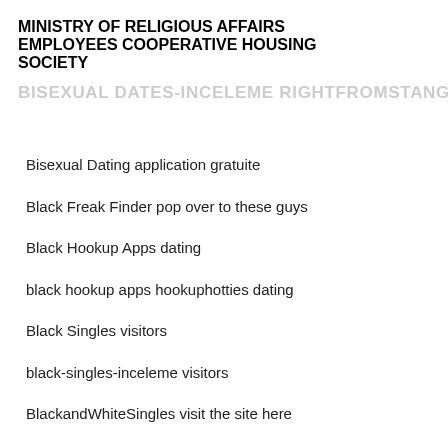MINISTRY OF RELIGIOUS AFFAIRS EMPLOYEES COOPERATIVE HOUSING SOCIETY
Bisexual Dating application gratuite
Black Freak Finder pop over to these guys
Black Hookup Apps dating
black hookup apps hookuphotties dating
Black Singles visitors
black-singles-inceleme visitors
BlackandWhiteSingles visit the site here
BlackBabyBoomerMeet visit the site here
BlackChristianPeopleMeet reviews
BlackChristianPeopleMeet visitors